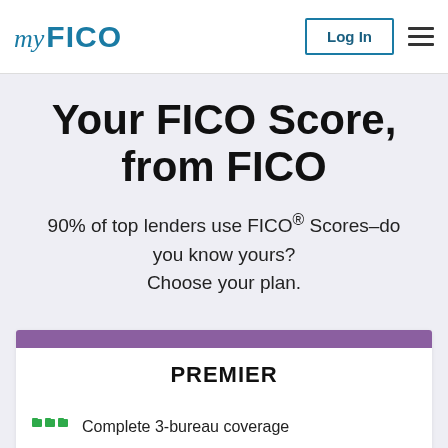myFICO | Log In
Your FICO Score, from FICO
90% of top lenders use FICO® Scores–do you know yours? Choose your plan.
PREMIER
Complete 3-bureau coverage
Updates available every month